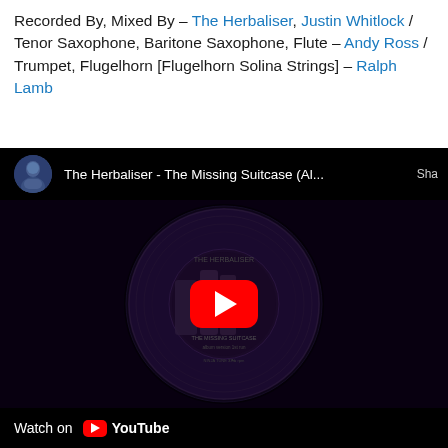Recorded By, Mixed By – The Herbaliser, Justin Whitlock / Tenor Saxophone, Baritone Saxophone, Flute – Andy Ross / Trumpet, Flugelhorn [Flugelhorn Solina Strings] – Ralph Lamb
[Figure (screenshot): YouTube video embed showing The Herbaliser - The Missing Suitcase (Al... with a vinyl record label visible as thumbnail, red play button in center, Watch on YouTube bar at bottom]